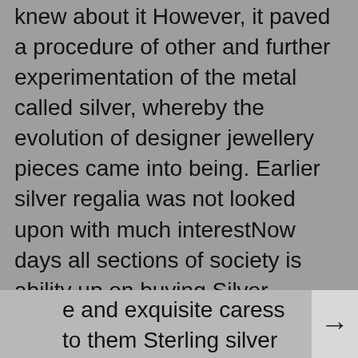knew about it However, it paved a procedure of other and further experimentation of the metal called silver, whereby the evolution of designer jewellery pieces came into being. Earlier silver regalia was not looked upon with much interestNow days all sections of society is ability up on buying Silver designer pieces to donate a e and exquisite caress to them Sterling silver e of those categories of silver metal that can nder drafted and molded into different gner pieces They reflect a certain nimbus of their own Sterling silver is decorous silver with subtle inactive shine in them. Many brands obtain evolved in the bygone gone with the enlarge in demand of silver treasure Some of the exclusive silver treasure outlets are selling equitable designer silver pieces, charging exorbitant prices from their customers Since there